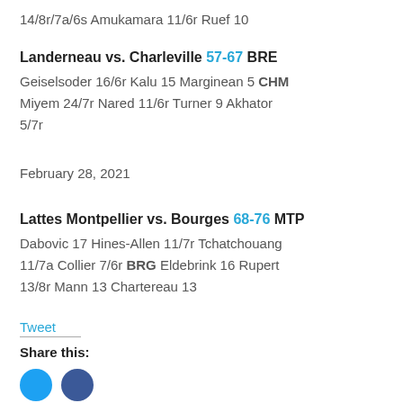14/8r/7a/6s Amukamara 11/6r Ruef 10
Landerneau vs. Charleville 57-67 BRE
Geiselsoder 16/6r Kalu 15 Marginean 5 CHM Miyem 24/7r Nared 11/6r Turner 9 Akhator 5/7r
February 28, 2021
Lattes Montpellier vs. Bourges 68-76 MTP
Dabovic 17 Hines-Allen 11/7r Tchatchouang 11/7a Collier 7/6r BRG Eldebrink 16 Rupert 13/8r Mann 13 Chartereau 13
Tweet
Share this: